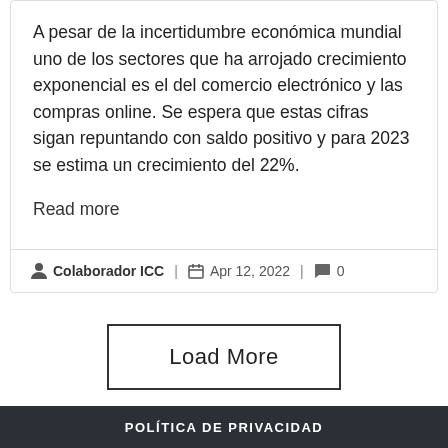A pesar de la incertidumbre económica mundial uno de los sectores que ha arrojado crecimiento exponencial es el del comercio electrónico y las compras online. Se espera que estas cifras sigan repuntando con saldo positivo y para 2023 se estima un crecimiento del 22%.
Read more
Colaborador ICC | Apr 12, 2022 | 0
Load More
POLÍTICA DE PRIVACIDAD